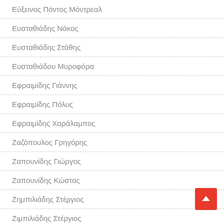Εύξεινος Πόντος Μόντρεαλ
Ευσταθιάδης Νάκος
Ευσταθιάδης Στάθης
Ευσταθιάδου Μυροφόρα
Εφραιμίδης Γιάννης
Εφραιμίδης Πόλυς
Εφραιμίδης Χαράλαμπος
Ζαζόπουλος Γρηγόρης
Ζαπουνίδης Γιώργος
Ζαπουνίδης Κώστας
Ζημπιλιάδης Στέργιος
Ζιμπιλιάδης Στέργιος